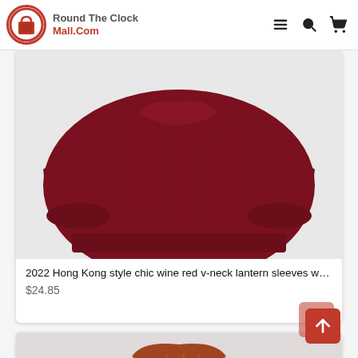Round The Clock Mall.Com
[Figure (photo): Wine red v-neck lantern sleeve sweater on white background]
2022 Hong Kong style chic wine red v-neck lantern sleeves whi...
$24.85
[Figure (photo): Rust/orange knit sweater partially visible at bottom of page]